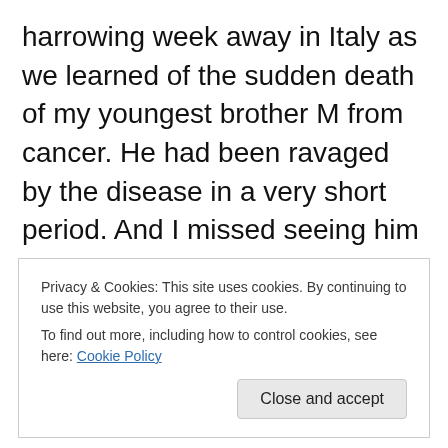harrowing week away in Italy as we learned of the sudden death of my youngest brother M from cancer. He had been ravaged by the disease in a very short period. And I missed seeing him before we managed to get back. Now here’s a sad tale; my young sister H, the baby of the family 12 years my junior, had been dealing with a spinal cancer situation for the last few years. She’d been elected for an experimental drug programme after years of surgery and therapy but a sudden change in her condition necessitated a mastectomy a couple of weeks ago. Long story short it didn’t go well and her condition deteriorated. On Saturday
Privacy & Cookies: This site uses cookies. By continuing to use this website, you agree to their use.
To find out more, including how to control cookies, see here: Cookie Policy